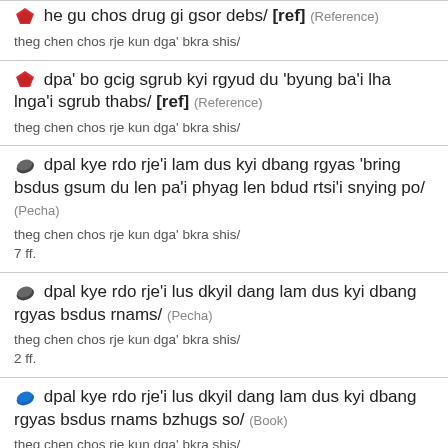he gu chos drug gi gsor debs/ [ref] (Reference)
theg chen chos rje kun dga' bkra shis/
dpa' bo gcig sgrub kyi rgyud du 'byung ba'i lha lnga'i sgrub thabs/ [ref] (Reference)
theg chen chos rje kun dga' bkra shis/
dpal kye rdo rje'i lam dus kyi dbang rgyas 'bring bsdus gsum du len pa'i phyag len bdud rtsi'i snying po/ (Pecha)
theg chen chos rje kun dga' bkra shis/
7 ff.
dpal kye rdo rje'i lus dkyil dang lam dus kyi dbang rgyas bsdus rnams/ (Pecha)
theg chen chos rje kun dga' bkra shis/
2 ff.
dpal kye rdo rje'i lus dkyil dang lam dus kyi dbang rgyas bsdus rnams bzhugs so/ (Book)
theg chen chos rje kun dga' bkra shis/
lha sa'i bod ljongs bod yig dpe rnying dpe skrun khang / 2017: vol. 94